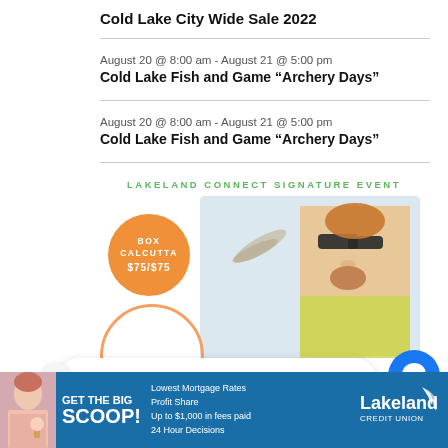Cold Lake City Wide Sale 2022
August 20 @ 8:00 am - August 21 @ 5:00 pm
Cold Lake Fish and Game “Archery Days”
August 20 @ 8:00 am - August 21 @ 5:00 pm
Cold Lake Fish and Game “Archery Days”
[Figure (infographic): Lakeland Connect Signature Event promotional image showing a golfer with sunglasses and an orange circle badge reading BOX CALCUTTA $75/$75]
Hi! How can we help you?
[Figure (infographic): Lakeland Credit Union banner ad: GET THE BIG SCOOP! Lowest Mortgage Rates, Profit Share, Up to $1,000 in fees paid, 24 Hour Decisions]